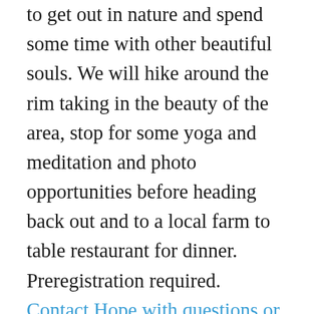to get out in nature and spend some time with other beautiful souls.  We will hike around the rim taking in the beauty of the area, stop for some yoga and meditation and photo opportunities before heading back out and to a local farm to table restaurant for dinner. Preregistration required. Contact Hope with questions or to register!